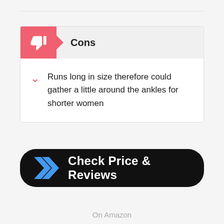Cons
Runs long in size therefore could gather a little around the ankles for shorter women
[Figure (other): Black rounded button with blue chevron arrows and white text 'Check Price & Reviews']
On Amazon